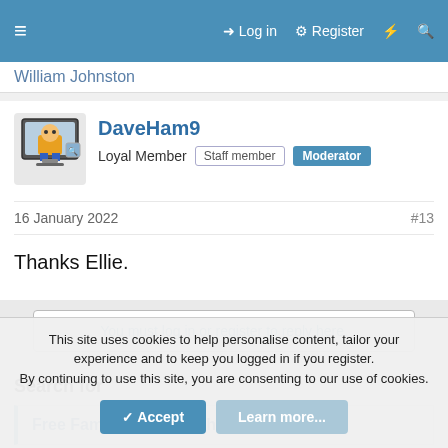≡  Log in   Register   ⚡  🔍
William Johnston
DaveHam9
Loyal Member  Staff member  Moderator
16 January 2022  #13
Thanks Ellie.
You must log in or register to reply here.
Search for
Free Family Tree Search
Free Family History Search
This site uses cookies to help personalise content, tailor your experience and to keep you logged in if you register.
By continuing to use this site, you are consenting to our use of cookies.
Accept  Learn more...